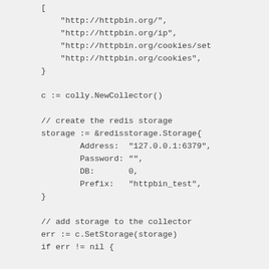[
        "http://httpbin.org/",
        "http://httpbin.org/ip",
        "http://httpbin.org/cookies/set
        "http://httpbin.org/cookies",
    }

    c := colly.NewCollector()

    // create the redis storage
    storage := &redisstorage.Storage{
            Address:  "127.0.0.1:6379",
            Password: "",
            DB:       0,
            Prefix:   "httpbin_test",
    }

    // add storage to the collector
    err := c.SetStorage(storage)
    if err != nil {